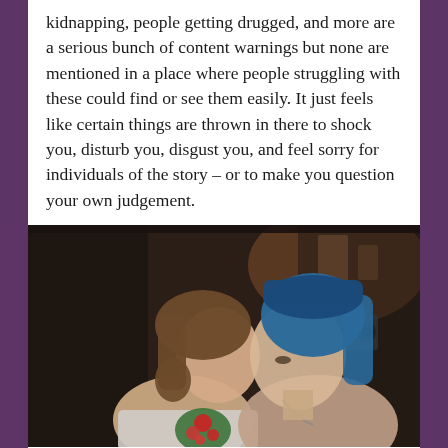kidnapping, people getting drugged, and more are a serious bunch of content warnings but none are mentioned in a place where people struggling with these could find or see them easily. It just feels like certain things are thrown in there to shock you, disturb you, disgust you, and feel sorry for individuals of the story – or to make you question your own judgement.
[Figure (screenshot): Screenshot from a video game (Life is Strange) showing two female animated characters in close-up profile view. One has short brown hair and a floral tattoo on her arm; the other has blue hair and wears a beanie hat. Background shows an interior setting.]